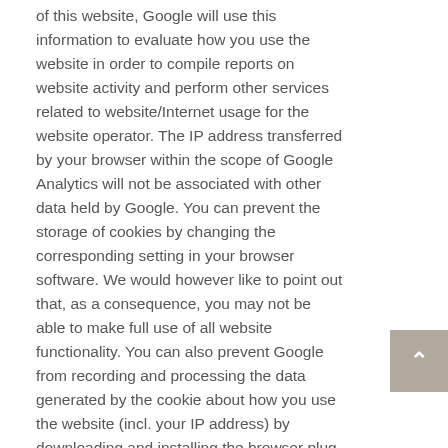of this website, Google will use this information to evaluate how you use the website in order to compile reports on website activity and perform other services related to website/Internet usage for the website operator. The IP address transferred by your browser within the scope of Google Analytics will not be associated with other data held by Google. You can prevent the storage of cookies by changing the corresponding setting in your browser software. We would however like to point out that, as a consequence, you may not be able to make full use of all website functionality. You can also prevent Google from recording and processing the data generated by the cookie about how you use the website (incl. your IP address) by downloading and installing the browser plug-in which can be found under the following link: http://tools.google.com/dlpage/gaoptout?hl=de.
Amendments to our privacy policy
From time to time, EPOS may need to amend this privacy policy.